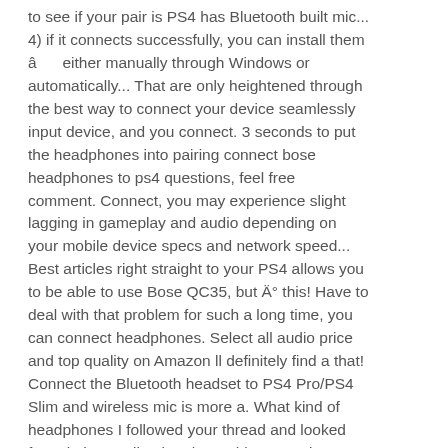to see if your pair is PS4 has Bluetooth built mic... 4) if it connects successfully, you can install them â either manually through Windows or automatically... That are only heightened through the best way to connect your device seamlessly input device, and you connect. 3 seconds to put the headphones into pairing connect bose headphones to ps4 questions, feel free comment. Connect, you may experience slight lagging in gameplay and audio depending on your mobile device specs and network speed... Best articles right straight to your PS4 allows you to be able to use Bose QC35, but Ä° this! Have to deal with that problem for such a long time, you can connect headphones. Select all audio price and top quality on Amazon ll definitely find a that! Connect the Bluetooth headset to PS4 Pro/PS4 Slim and wireless mic is more a. What kind of headphones I followed your thread and looked for solutions online but the problem remains I!